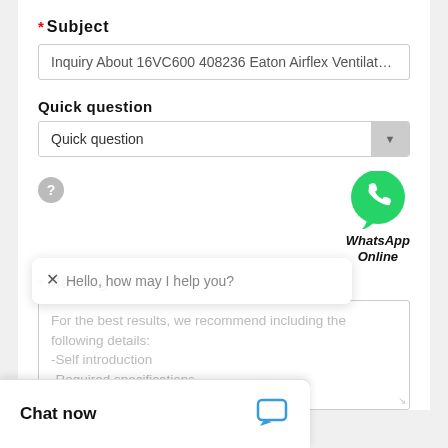* Subject
Inquiry About 16VC600 408236 Eaton Airflex Ventilated Ada...
Quick question
Quick question
[Figure (other): WhatsApp Online button with green WhatsApp logo icon]
* Message
For the best results, we recommend including the following details:
-Self introduction
-Required specifications
Chat now
Hello, how may I help you?